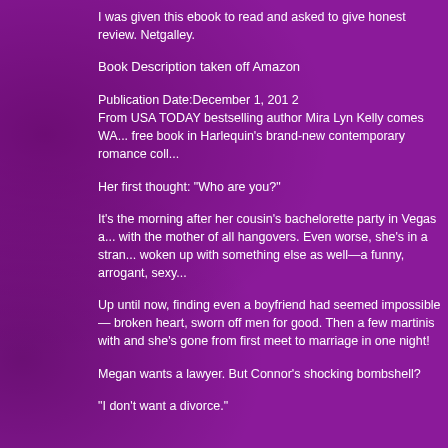I was given this ebook to read and asked to give honest review. Netgalley.
Book Description taken off Amazon
Publication Date:December 1, 201 2
From USA TODAY bestselling author Mira Lyn Kelly comes WA... free book in Harlequin's brand-new contemporary romance coll...
Her first thought: "Who are you?"
It's the morning after her cousin's bachelorette party in Vegas a... with the mother of all hangovers. Even worse, she's in a stran... woken up with something else as well—a funny, arrogant, sexy...
Up until now, finding even a boyfriend had seemed impossible— broken heart, sworn off men for good. Then a few martinis with and she's gone from first meet to marriage in one night!
Megan wants a lawyer. But Connor's shocking bombshell?
"I don't want a divorce."